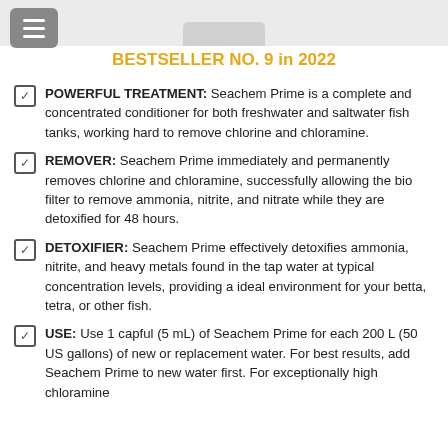[Figure (photo): Top portion of a product container (cap visible) on a light gray background]
BESTSELLER NO. 9 in 2022
POWERFUL TREATMENT: Seachem Prime is a complete and concentrated conditioner for both freshwater and saltwater fish tanks, working hard to remove chlorine and chloramine.
REMOVER: Seachem Prime immediately and permanently removes chlorine and chloramine, successfully allowing the bio filter to remove ammonia, nitrite, and nitrate while they are detoxified for 48 hours.
DETOXIFIER: Seachem Prime effectively detoxifies ammonia, nitrite, and heavy metals found in the tap water at typical concentration levels, providing a ideal environment for your betta, tetra, or other fish.
USE: Use 1 capful (5 mL) of Seachem Prime for each 200 L (50 US gallons) of new or replacement water. For best results, add Seachem Prime to new water first. For exceptionally high chloramine